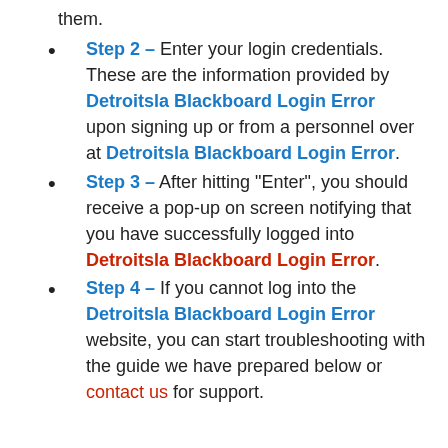them.
Step 2 – Enter your login credentials. These are the information provided by Detroitsla Blackboard Login Error upon signing up or from a personnel over at Detroitsla Blackboard Login Error.
Step 3 – After hitting "Enter", you should receive a pop-up on screen notifying that you have successfully logged into Detroitsla Blackboard Login Error.
Step 4 – If you cannot log into the Detroitsla Blackboard Login Error website, you can start troubleshooting with the guide we have prepared below or contact us for support.